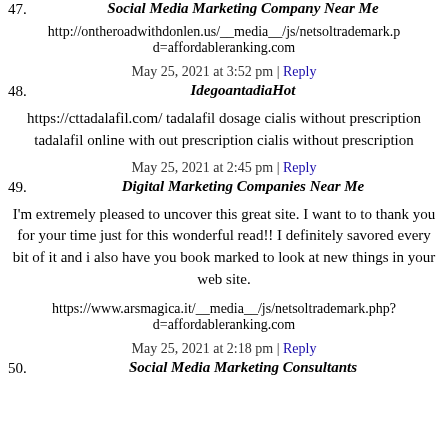47. Social Media Marketing Company Near Me
http://ontheroadwithdonlen.us/__media__/js/netsoltrademark.p d=affordableranking.com
May 25, 2021 at 3:52 pm | Reply
48. IdegoantadiaHot
https://cttadalafil.com/ tadalafil dosage cialis without prescription tadalafil online with out prescription cialis without prescription
May 25, 2021 at 2:45 pm | Reply
49. Digital Marketing Companies Near Me
I'm extremely pleased to uncover this great site. I want to to thank you for your time just for this wonderful read!! I definitely savored every bit of it and i also have you book marked to look at new things in your web site.
https://www.arsmagica.it/__media__/js/netsoltrademark.php? d=affordableranking.com
May 25, 2021 at 2:18 pm | Reply
50. Social Media Marketing Consultants